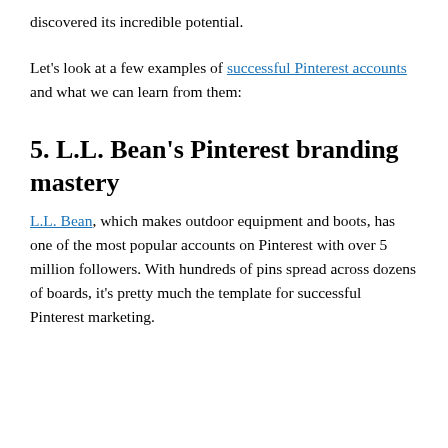discovered its incredible potential.
Let's look at a few examples of successful Pinterest accounts and what we can learn from them:
5. L.L. Bean's Pinterest branding mastery
L.L. Bean, which makes outdoor equipment and boots, has one of the most popular accounts on Pinterest with over 5 million followers. With hundreds of pins spread across dozens of boards, it's pretty much the template for successful Pinterest marketing.